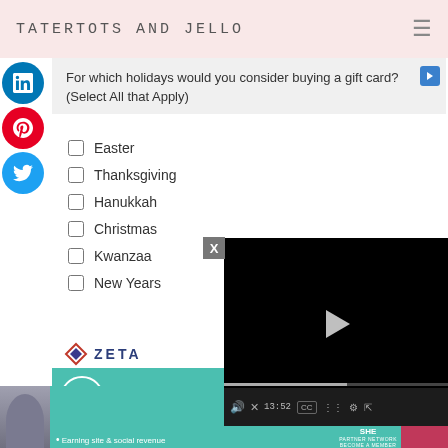TATERTOTS AND JELLO
For which holidays would you consider buying a gift card? (Select All that Apply)
Easter
Thanksgiving
Hanukkah
Christmas
Kwanzaa
New Years
[Figure (logo): Zeta logo with diamond shape and ZETA text]
[Figure (screenshot): Video player overlay showing paused video with play button, timestamp 13:52, progress bar and controls]
[Figure (logo): SHE Partner Network banner in teal]
[Figure (infographic): Bottom advertisement banner for SHE Partner Network with text 'Earning site & social revenue' and LEARN MORE button]